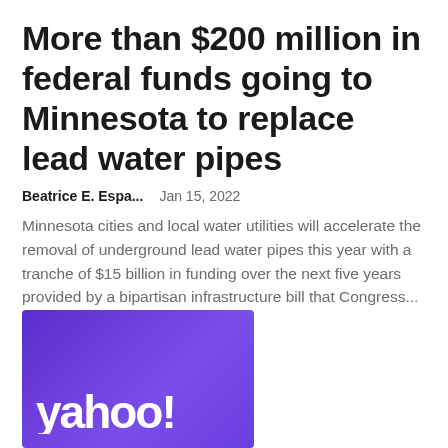More than $200 million in federal funds going to Minnesota to replace lead water pipes
Beatrice E. Espa...    Jan 15, 2022
Minnesota cities and local water utilities will accelerate the removal of underground lead water pipes this year with a tranche of $15 billion in funding over the next five years provided by a bipartisan infrastructure bill that Congress...
[Figure (logo): Yahoo! logo on purple gradient background]